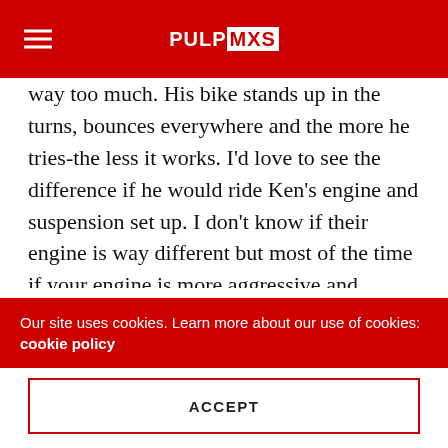PULPMX
way too much. His bike stands up in the turns, bounces everywhere and the more he tries-the less it works. I'd love to see the difference if he would ride Ken's engine and suspension set up. I don't know if their engine is way different but most of the time if your engine is more aggressive and powerful, it makes the handling of the bike more difficult. More compression/power/hit means more engine brake. Engine brake on a 4-stroke in the enemy of the rear shock. It makes the rear end of the bike very twitchy. I am speculating because I obviously don't know what types of set up those guys are using but I think there is something wrong with the Dunge's scooter! If I can see it
Our site uses cookies. Learn more about our use of cookies: cookie policy
ACCEPT